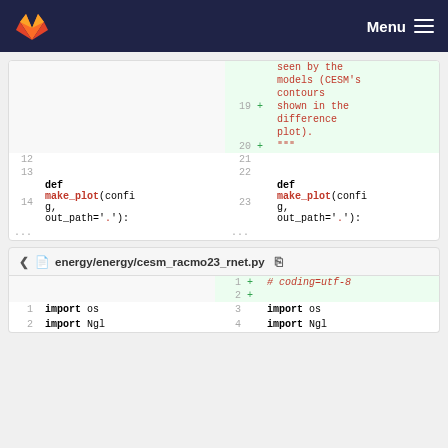Menu
[Figure (screenshot): Code diff view showing two columns. Left side has line numbers 12-14 with def make_plot(config, out_path='.'): Right side (green background, added lines) shows line numbers 19-23 with added text: seen by the models (CESM's contours, shown in the difference plot). and def make_plot(config, out_path='.'):]
energy/energy/cesm_racmo23_rnet.py
[Figure (screenshot): Code diff bottom section showing added lines 1-2 (# coding=utf-8 and blank) and lines 1-4 with import os, import Ngl]